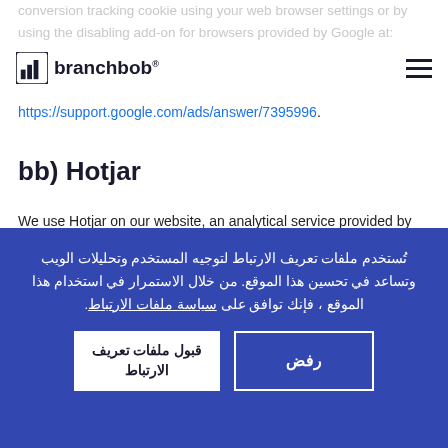conversion tracking cookie using your web browser settings or by using the disabling add-on for browsers provided by Google at:
branchbob
https://support.google.com/ads/answer/7395996.
bb) Hotjar
We use Hotjar on our website, an analytical service provided by Hotjar Ltd, Level 2, St Julian's
تُستخدم ملفات تعريف الارتباط لتوجيه المستخدم وتحليلات الويب وتساعد في تحسين هذا الموقع. من خلال الاستمرار في استخدام هذا الموقع ، فإنك توافق على سياسة ملفات الارتباط.
قبول ملفات تعريف الارتباط
رفض